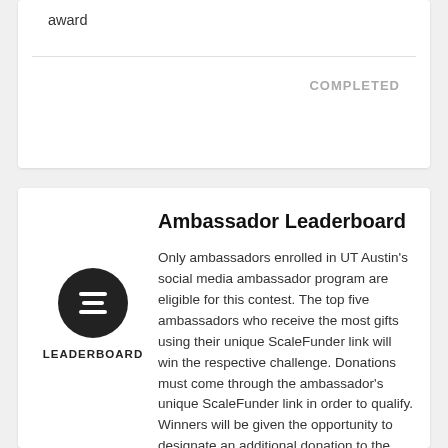award
COMPLETED
Ambassador Leaderboard
[Figure (illustration): Leaderboard icon — dark circle with three horizontal bars, labelled LEADERBOARD below]
Only ambassadors enrolled in UT Austin's social media ambassador program are eligible for this contest. The top five ambassadors who receive the most gifts using their unique ScaleFunder link will win the respective challenge. Donations must come through the ambassador's unique ScaleFunder link in order to qualify. Winners will be given the opportunity to designate an additional donation to the area of their choosing at UT Austin. **Texas Development staff are ineligible for this challenge.** April 6 at 6:00 AM CDT – April 7 at 10:00 PM CDT. 1st Place – $1,500 designation | 2nd Place – $1,000 designation | 3rd Place – $750 designation |